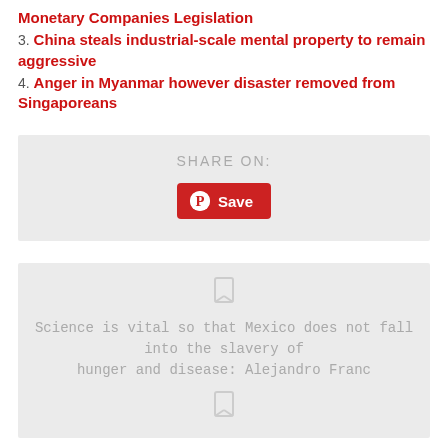Monetary Companies Legislation
3. China steals industrial-scale mental property to remain aggressive
4. Anger in Myanmar however disaster removed from Singaporeans
SHARE ON:
[Figure (other): Pinterest Save button with Pinterest logo icon]
[Figure (other): Related article card with bookmark icon and article title: Science is vital so that Mexico does not fall into the slavery of hunger and disease: Alejandro Franc]